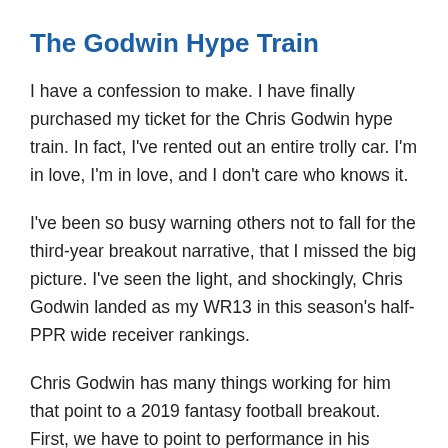The Godwin Hype Train
I have a confession to make. I have finally purchased my ticket for the Chris Godwin hype train. In fact, I've rented out an entire trolly car. I'm in love, I'm in love, and I don't care who knows it.
I've been so busy warning others not to fall for the third-year breakout narrative, that I missed the big picture. I've seen the light, and shockingly, Chris Godwin landed as my WR13 in this season's half-PPR wide receiver rankings.
Chris Godwin has many things working for him that point to a 2019 fantasy football breakout. First, we have to point to performance in his rookie campaign.